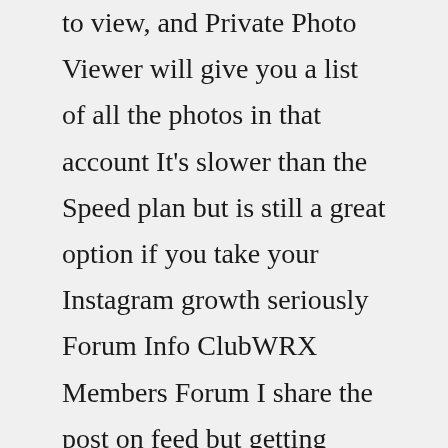to view, and Private Photo Viewer will give you a list of all the photos in that account It's slower than the Speed plan but is still a great option if you take your Instagram growth seriously Forum Info ClubWRX Members Forum I share the post on feed but getting preview “login Instagram” Started by: futureyoon Paste the nickname into the search field on this page Get your free Instagram audit now! Connect my Instagram The benefits of creating your own